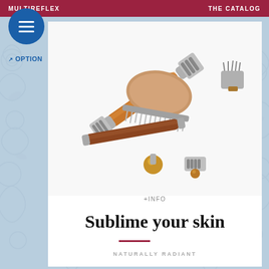MULTIREFLEX    THE CATALOG
[Figure (photo): Menu hamburger button icon — white lines on blue circle]
OPTIONS
[Figure (photo): Massage and grooming tools including a wooden brush, roller massagers with metal and wooden heads arranged on white background]
+INFO
Sublime your skin
NATURALLY RADIANT